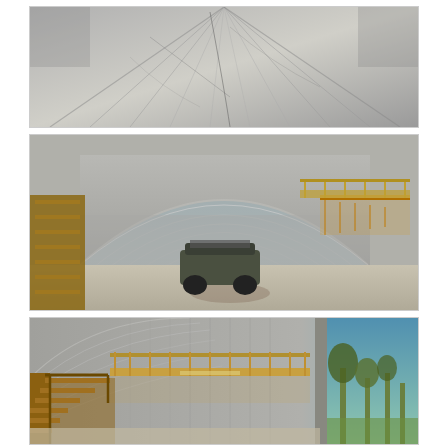[Figure (photo): Interior ceiling view of a Quonset hut / metal arch building, showing the curved corrugated metal roof panels with visible scratches and weathering, photographed from below looking up.]
[Figure (photo): Wide interior view of a large Quonset hut / arch-style metal building with arched corrugated steel roof. Wooden shelving on the left wall, an ATV/UTV parked on dirt floor in center, a wooden staircase leading to a mezzanine loft with metal railing on the right side.]
[Figure (photo): Interior view of the same metal arch building showing a wooden staircase leading up to a mezzanine/loft level with wooden railing. Right side shows a large sliding door opening to the outdoors with trees visible.]